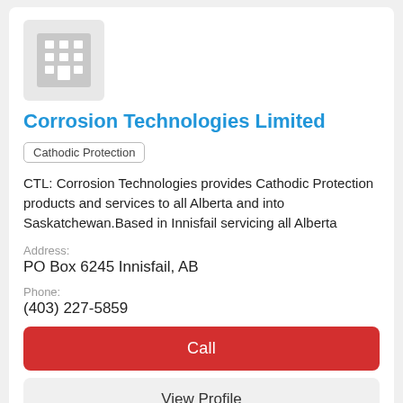[Figure (logo): Generic building/company logo placeholder icon — grey square with grid of white squares representing windows and a door]
Corrosion Technologies Limited
Cathodic Protection
CTL: Corrosion Technologies provides Cathodic Protection products and services to all Alberta and into Saskatchewan.Based in Innisfail servicing all Alberta
Address:
PO Box 6245 Innisfail, AB
Phone:
(403) 227-5859
Call
View Profile